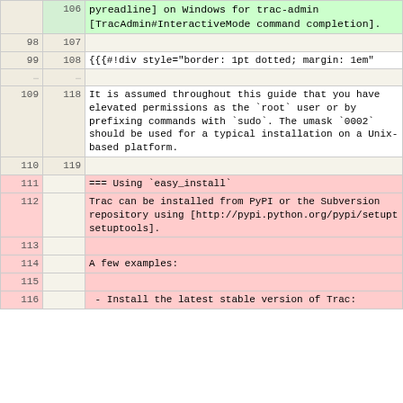| old | new | content |
| --- | --- | --- |
|  | 106 | pyreadline] on Windows for trac-admin [TracAdmin#InteractiveMode command completion]. |
| 98 | 107 |  |
| 99 | 108 | {{{#!div style="border: 1pt dotted; margin: 1em" |
| ... | ... |  |
| 109 | 118 | It is assumed throughout this guide that you have elevated permissions as the `root` user or by prefixing commands with `sudo`. The umask `0002` should be used for a typical installation on a Unix-based platform. |
| 110 | 119 |  |
| 111 |  | === Using `easy_install` |
| 112 |  | Trac can be installed from PyPI or the Subversion repository using [http://pypi.python.org/pypi/setupt setuptools]. |
| 113 |  |  |
| 114 |  | A few examples: |
| 115 |  |  |
| 116 |  |  - Install the latest stable version of Trac: |